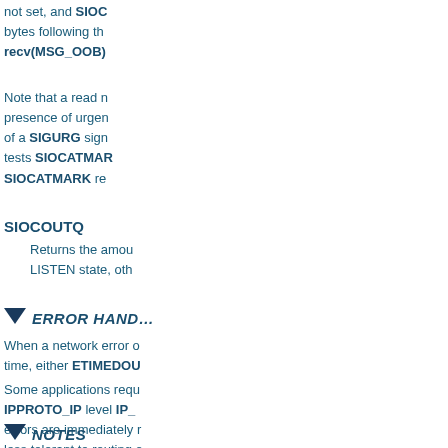not set, and SIOC… bytes following the… recv(MSG_OOB)
Note that a read n… presence of urgen… of a SIGURG sign… tests SIOCATMAR… SIOCATMARK re…
SIOCOUTQ
Returns the amou… LISTEN state, oth…
ERROR HAND…
When a network error o… time, either ETIMEDOU…
Some applications requ… IPPROTO_IP level IP_… errors are immediately … less tolerant to routing o…
NOTES